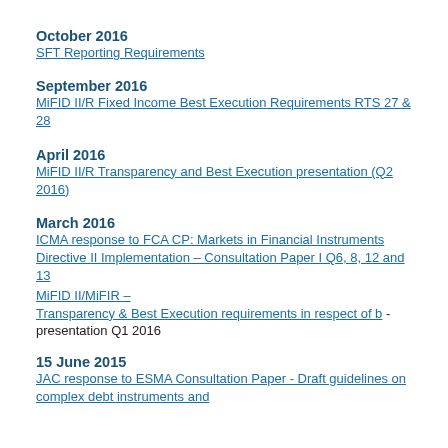October 2016
SFT Reporting Requirements
September 2016
MiFID II/R Fixed Income Best Execution Requirements RTS 27 & 28
April 2016
MiFID II/R Transparency and Best Execution presentation (Q2 2016)
March 2016
ICMA response to FCA CP: Markets in Financial Instruments Directive II Implementation – Consultation Paper I Q6, 8, 12 and 13
MiFID II/MiFIR – Transparency & Best Execution requirements in respect of b - presentation Q1 2016
15 June 2015
JAC response to ESMA Consultation Paper - Draft guidelines on complex debt instruments and...